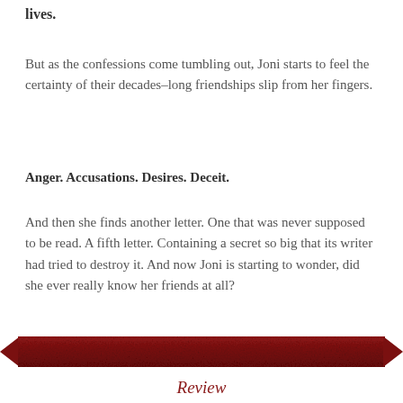lives.
But as the confessions come tumbling out, Joni starts to feel the certainty of their decades–long friendships slip from her fingers.
Anger. Accusations. Desires. Deceit.
And then she finds another letter. One that was never supposed to be read. A fifth letter. Containing a secret so big that its writer had tried to destroy it. And now Joni is starting to wonder, did she ever really know her friends at all?
[Figure (illustration): Dark red banner/ribbon decorative divider with textured surface and pointed ends on left and right]
Review